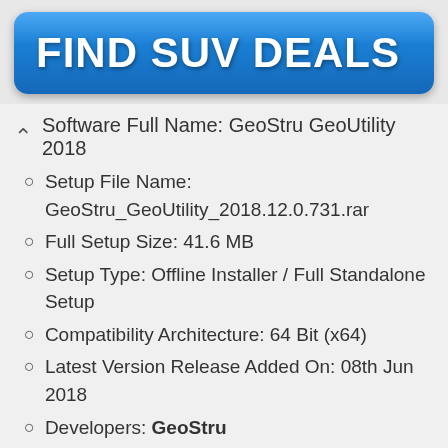[Figure (infographic): Blue rounded rectangle button with white bold text 'FIND SUV DEALS']
Software Full Name: GeoStru GeoUtility 2018
Setup File Name: GeoStru_GeoUtility_2018.12.0.731.rar
Full Setup Size: 41.6 MB
Setup Type: Offline Installer / Full Standalone Setup
Compatibility Architecture: 64 Bit (x64)
Latest Version Release Added On: 08th Jun 2018
Developers: GeoStru